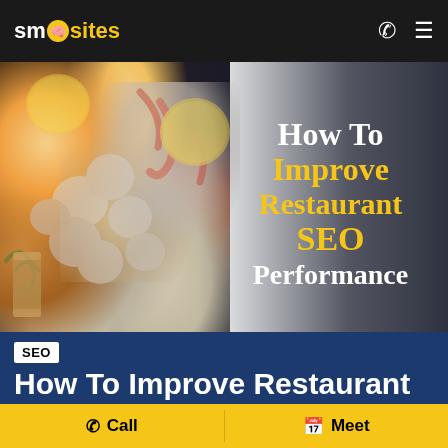SmartSites
[Figure (photo): Overhead flatlay of seafood ingredients including shrimp, scallops, lemons, herbs and spices on a dark background, with overlay text reading 'How To Improve Restaurant SEO Performance']
How To Improve Restaurant SEO Performance
SEO
How To Improve Restaurant
Call  Meet